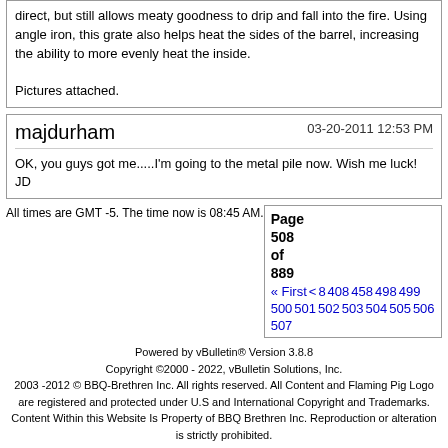direct, but still allows meaty goodness to drip and fall into the fire. Using angle iron, this grate also helps heat the sides of the barrel, increasing the ability to more evenly heat the inside.

Pictures attached.
majdurham
03-20-2011 12:53 PM
OK, you guys got me.....I'm going to the metal pile now. Wish me luck!
JD
All times are GMT -5. The time now is 08:45 AM.
Page 508 of 889 « First < 8 408 458 498 499 500 501 502 503 504 505 506 507
Powered by vBulletin® Version 3.8.8
Copyright ©2000 - 2022, vBulletin Solutions, Inc.
2003 -2012 © BBQ-Brethren Inc. All rights reserved. All Content and Flaming Pig Logo are registered and protected under U.S and International Copyright and Trademarks. Content Within this Website Is Property of BBQ Brethren Inc. Reproduction or alteration is strictly prohibited.